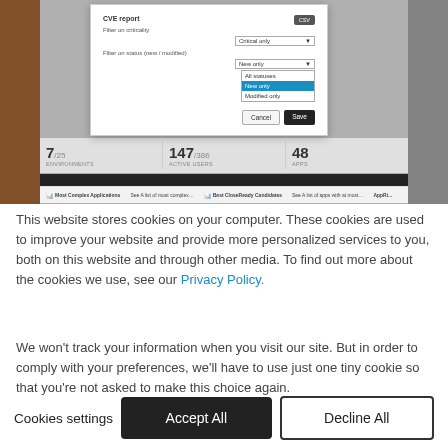[Figure (screenshot): Screenshot of a web application showing a CVE report modal dialog with filter options for criticality and status (new/modified), a dropdown showing 'New only', 'All statuses', 'New only', 'Modified only' options. Behind the modal are dashboard statistics showing numbers like 7, 147, 48, and a dark navigation bar with links to 'Most Complex Applications', 'Not CloseReady Candidates', 'AppRi...'.]
This website stores cookies on your computer. These cookies are used to improve your website and provide more personalized services to you, both on this website and through other media. To find out more about the cookies we use, see our Privacy Policy.
We won't track your information when you visit our site. But in order to comply with your preferences, we'll have to use just one tiny cookie so that you're not asked to make this choice again.
Cookies settings
Accept All
Decline All